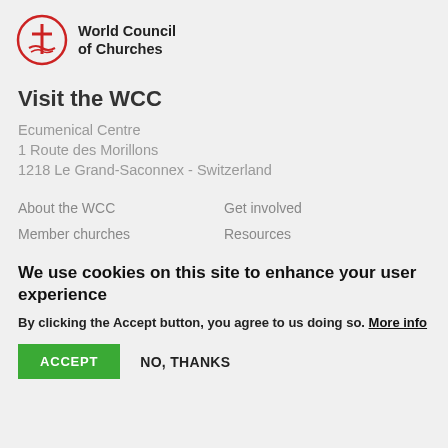[Figure (logo): World Council of Churches logo with circular emblem featuring a cross and boat/ship symbol in red, alongside the text 'World Council of Churches']
Visit the WCC
Ecumenical Centre
1 Route des Morillons
1218 Le Grand-Saconnex - Switzerland
About the WCC
Get involved
Member churches
Resources
We use cookies on this site to enhance your user experience
By clicking the Accept button, you agree to us doing so. More info
ACCEPT   NO, THANKS